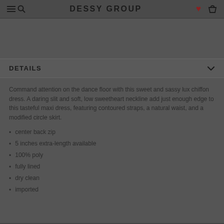DESSY GROUP
DETAILS
Command attention on the dance floor with this sweet and sassy lux chiffon dress. A daring slit and soft, low sweetheart neckline add just enough edge to this tasteful maxi dress, featuring contoured straps, a natural waist, and a modified circle skirt.
center back zip
5 inches extra-length available
100% poly
fully lined
dry clean
imported